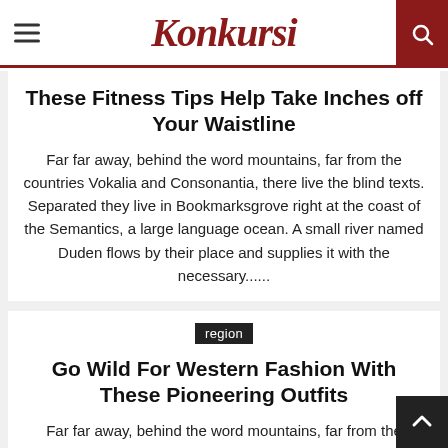Konkursi
These Fitness Tips Help Take Inches off Your Waistline
Far far away, behind the word mountains, far from the countries Vokalia and Consonantia, there live the blind texts. Separated they live in Bookmarksgrove right at the coast of the Semantics, a large language ocean. A small river named Duden flows by their place and supplies it with the necessary......
region
Go Wild For Western Fashion With These Pioneering Outfits
Far far away, behind the word mountains, far from the countries Vokalia and Consonantia, there live the blind